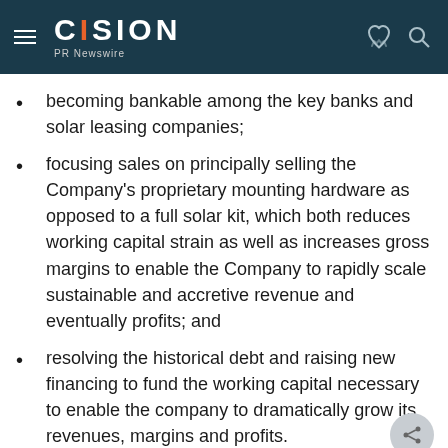CISION PR Newswire
becoming bankable among the key banks and solar leasing companies;
focusing sales on principally selling the Company's proprietary mounting hardware as opposed to a full solar kit, which both reduces working capital strain as well as increases gross margins to enable the Company to rapidly scale sustainable and accretive revenue and eventually profits; and
resolving the historical debt and raising new financing to fund the working capital necessary to enable the company to dramatically grow its revenues, margins and profits.